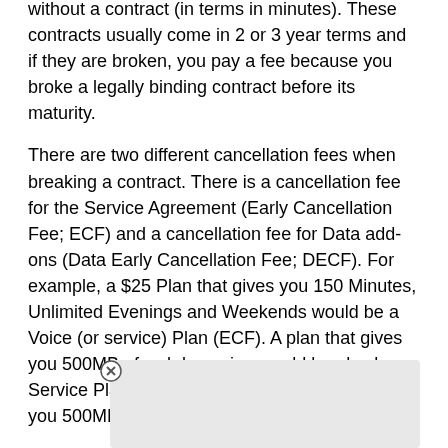without a contract (in terms in minutes). These contracts usually come in 2 or 3 year terms and if they are broken, you pay a fee because you broke a legally binding contract before its maturity.
There are two different cancellation fees when breaking a contract. There is a cancellation fee for the Service Agreement (Early Cancellation Fee; ECF) and a cancellation fee for Data add-ons (Data Early Cancellation Fee; DECF). For example, a $25 Plan that gives you 150 Minutes, Unlimited Evenings and Weekends would be a Voice (or service) Plan (ECF). A plan that gives you 500MB of web browsing would be also be a Service Plan (ECF) and a data add-on that gives you 500MB would be a Data plan (DECF).
Note:
If you have a Voice plan on your account, the Voice plan c[...] of your a[...] ntire acco[...]